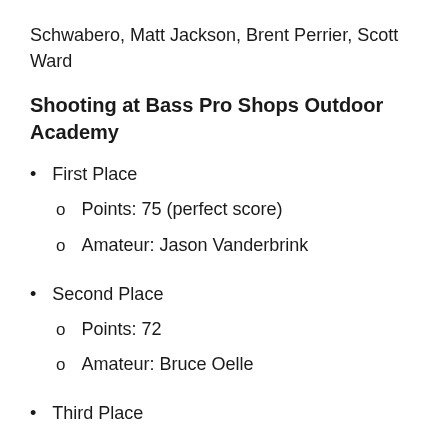Schwabero, Matt Jackson, Brent Perrier, Scott Ward
Shooting at Bass Pro Shops Outdoor Academy
First Place
Points: 75 (perfect score)
Amateur: Jason Vanderbrink
Second Place
Points: 72
Amateur: Bruce Oelle
Third Place